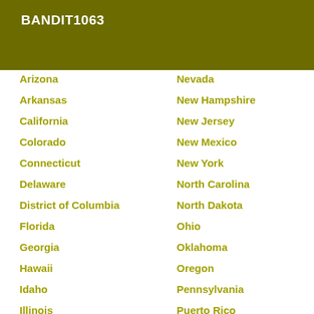BANDIT1063
Arizona
Nevada
Arkansas
New Hampshire
California
New Jersey
Colorado
New Mexico
Connecticut
New York
Delaware
North Carolina
District of Columbia
North Dakota
Florida
Ohio
Georgia
Oklahoma
Hawaii
Oregon
Idaho
Pennsylvania
Illinois
Puerto Rico
Indiana
Rhode Island